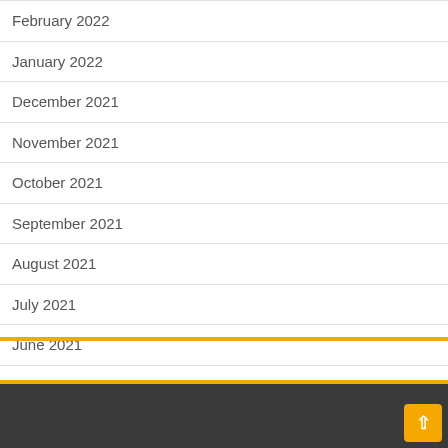February 2022
January 2022
December 2021
November 2021
October 2021
September 2021
August 2021
July 2021
June 2021
April 2021
March 2021